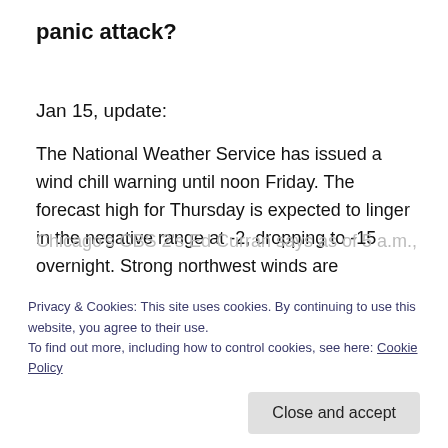panic attack?
Jan 15, update:
The National Weather Service has issued a wind chill warning until noon Friday. The forecast high for Thursday is expected to linger in the negative range at -2, dropping to -15 overnight. Strong northwest winds are producing wind chill factors of -25 to -40.
Chicago's CBS 2's Ed Curran says as of 5 a.m., it was -7
(Updated Jan 17)
Privacy & Cookies: This site uses cookies. By continuing to use this website, you agree to their use.
To find out more, including how to control cookies, see here: Cookie Policy